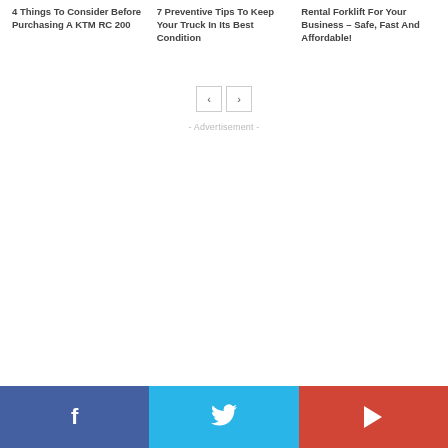4 Things To Consider Before Purchasing A KTM RC 200
7 Preventive Tips To Keep Your Truck In Its Best Condition
Rental Forklift For Your Business – Safe, Fast And Affordable!
[Figure (other): Pagination navigation arrows: left arrow button and right arrow button]
- Advertisement -
[Figure (other): Social media bar with Facebook, Twitter, and YouTube buttons at the bottom of the page]